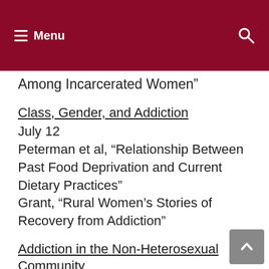Menu
Among Incarcerated Women”
Class, Gender, and Addiction
July 12
Peterman et al, “Relationship Between Past Food Deprivation and Current Dietary Practices”
Grant, “Rural Women’s Stories of Recovery from Addiction”
Addiction in the Non-Heterosexual Community
July 14
Washington, “Burning Love: Big Tobacco Takes Aim at LGBT Youths”